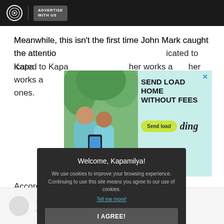ADVERTISE WITH US
Meanwhile, this isn't the first time John Mark caught the attention of … dedicated to Kapa… her works a… international ones.
[Figure (infographic): Ad banner: Two children looking at a phone with text 'SEND LOAD HOME WITHOUT FEES' and a 'Send load' button, branded 'ding']
According to … who is currently tak… d he mastered th… lockdown.
Welcome, Kapamilya!
We use cookies to improve your browsing experience.
Continuing to use this site means you agree to our use of cookies.
Tell me more!
I AGREE!
[Figure (other): Skeleton loading placeholder with circle and line placeholders]